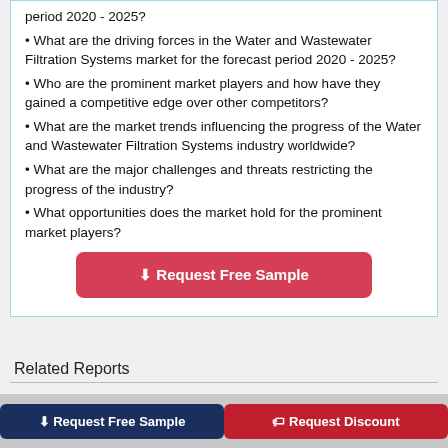period 2020 - 2025?
• What are the driving forces in the Water and Wastewater Filtration Systems market for the forecast period 2020 - 2025?
• Who are the prominent market players and how have they gained a competitive edge over other competitors?
• What are the market trends influencing the progress of the Water and Wastewater Filtration Systems industry worldwide?
• What are the major challenges and threats restricting the progress of the industry?
• What opportunities does the market hold for the prominent market players?
[Figure (other): Red button labeled 'Request Free Sample' with download icon]
Related Reports
[Figure (other): Two buttons at bottom: navy 'Request Free Sample' and crimson 'Request Discount']